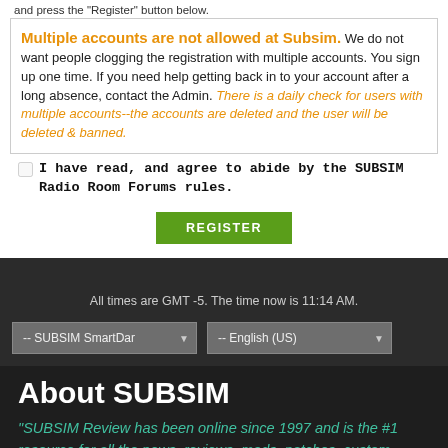and press the "Register" button below.
Multiple accounts are not allowed at Subsim. We do not want people clogging the registration with multiple accounts. You sign up one time. If you need help getting back in to your account after a long absence, contact the Admin. There is a daily check for users with multiple accounts--the accounts are deleted and the user will be deleted & banned.
I have read, and agree to abide by the SUBSIM Radio Room Forums rules.
REGISTER
All times are GMT -5. The time now is 11:14 AM.
-- SUBSIM SmartDar
-- English (US)
About SUBSIM
"SUBSIM Review has been online since 1997 and is the #1 resource for all the news, reviews, mods, patches, custom missions, & tips for every naval game & subsim made. Good hunting!"